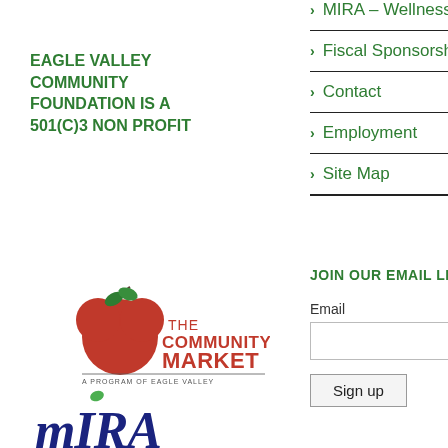> MIRA – Wellness
> Fiscal Sponsorship
> Contact
> Employment
> Site Map
EAGLE VALLEY COMMUNITY FOUNDATION IS A 501(C)3 NON PROFIT
[Figure (logo): The Community Market logo - red apple with green leaf, text: THE COMMUNITY MARKET, A PROGRAM OF EAGLE VALLEY COMMUNITY FOUNDATION]
JOIN OUR EMAIL LIST
Email
[Figure (logo): MIRA logo in dark blue italic stylized text with accent mark]